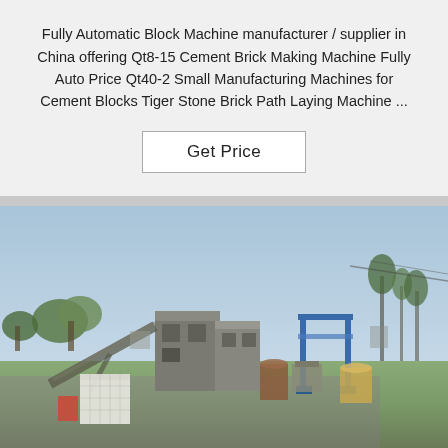Fully Automatic Block Machine manufacturer / supplier in China offering Qt8-15 Cement Brick Making Machine Fully Auto Price Qt40-2 Small Manufacturing Machines for Cement Blocks Tiger Stone Brick Path Laying Machine ...
Get Price
[Figure (photo): Outdoor industrial facility showing block-making machinery and equipment, with a blue gantry frame, conveyor belt, large tanks and containers in the foreground, trees visible in background, sky overhead.]